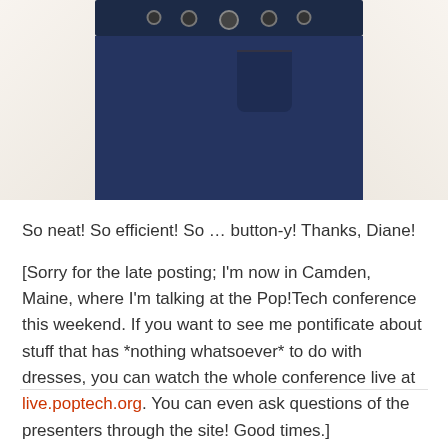[Figure (photo): Photograph of a navy blue skirt/dress with a decorative button-studded waistband, partially cropped, with what appear to be arms/sleeves visible on either side]
So neat! So efficient! So … button-y! Thanks, Diane!
[Sorry for the late posting; I'm now in Camden, Maine, where I'm talking at the Pop!Tech conference this weekend. If you want to see me pontificate about stuff that has *nothing whatsoever* to do with dresses, you can watch the whole conference live at live.poptech.org. You can even ask questions of the presenters through the site! Good times.]